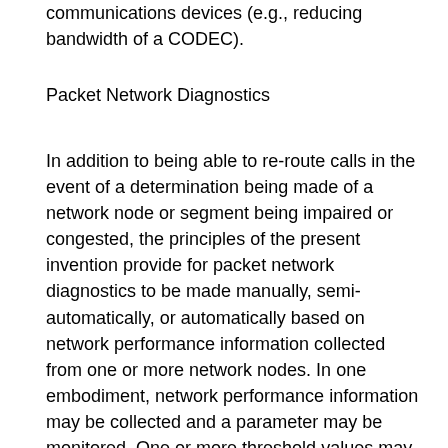communications devices (e.g., reducing bandwidth of a CODEC).
Packet Network Diagnostics
In addition to being able to re-route calls in the event of a determination being made of a network node or segment being impaired or congested, the principles of the present invention provide for packet network diagnostics to be made manually, semi-automatically, or automatically based on network performance information collected from one or more network nodes. In one embodiment, network performance information may be collected and a parameter may be monitored. One or more threshold values may be established for use in determining that the network performance information parameter. For example, an upper and lower threshold may be established to ensure that transmission rate of data packets including non-real-time content so that a customer does not receive higher or lower transmission speed than contracted. In one embodiment, the network performance information may be collected and monitored at a central location on a packet network. Alternatively, each individual network node may